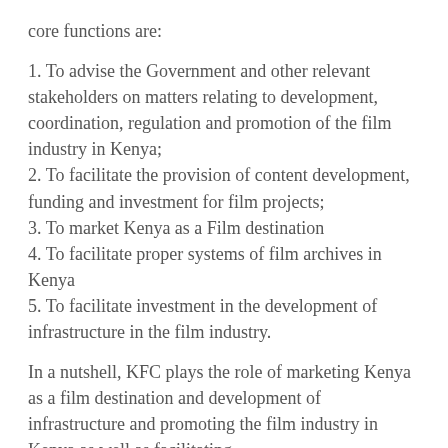core functions are:
1. To advise the Government and other relevant stakeholders on matters relating to development, coordination, regulation and promotion of the film industry in Kenya;
2. To facilitate the provision of content development, funding and investment for film projects;
3. To market Kenya as a Film destination
4. To facilitate proper systems of film archives in Kenya
5. To facilitate investment in the development of infrastructure in the film industry.
In a nutshell, KFC plays the role of marketing Kenya as a film destination and development of infrastructure and promoting the film industry in Kenya as well as facilitating